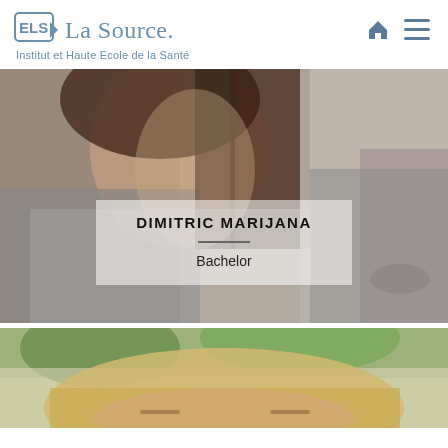ELG+ La Source. Institut et Haute Ecole de la Santé
[Figure (photo): Profile photo of Dimitric Marijana, a woman with long brown hair wearing a grey cardigan, with a semi-transparent overlay showing her name and degree]
[Figure (photo): Partial profile photo of a second person with blonde hair, cropped at bottom of page]